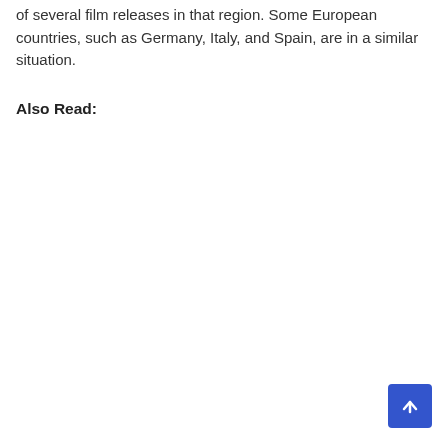of several film releases in that region. Some European countries, such as Germany, Italy, and Spain, are in a similar situation.
Also Read: